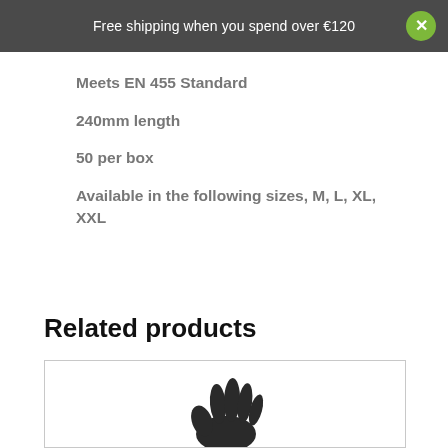Free shipping when you spend over €120
Meets EN 455 Standard
240mm length
50 per box
Available in the following sizes, M, L, XL, XXL
Related products
[Figure (photo): A black nitrile or latex glove partially visible at the bottom of a product card.]